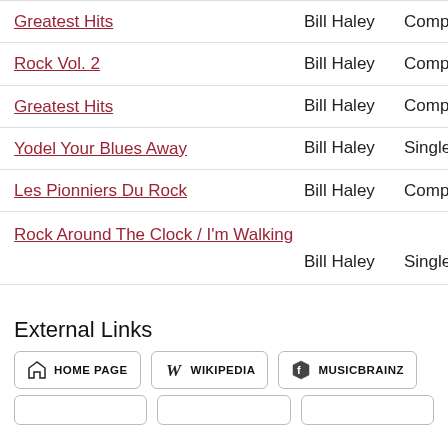| Title | Artist | Type |
| --- | --- | --- |
| Greatest Hits | Bill Haley | Compil. |
| Rock Vol. 2 | Bill Haley | Compil. |
| Greatest Hits | Bill Haley | Compil. |
| Yodel Your Blues Away | Bill Haley | Single |
| Les Pionniers Du Rock | Bill Haley | Compil. |
| Rock Around The Clock / I'm Walking | Bill Haley | Single |
External Links
HOME PAGE  WIKIPEDIA  MUSICBRAINZ